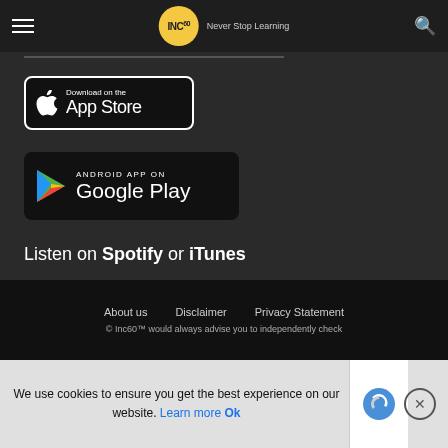INC60 — Never Stop Learning
[Figure (logo): INC60 logo with yellow circle and 'Never Stop Learning' tagline]
[Figure (illustration): Download on the App Store badge (black rounded rectangle with Apple logo)]
[Figure (illustration): ANDROID APP ON Google Play badge (black rounded rectangle with Play triangle logo)]
Listen on Spotify or iTunes
About us   Disclaimer   Privacy Statement
© Inc60™ would always advise you to independently check
We use cookies to ensure you get the best experience on our website. Learn more  Ok